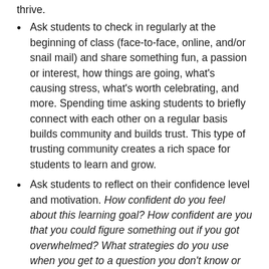thrive.
Ask students to check in regularly at the beginning of class (face-to-face, online, and/or snail mail) and share something fun, a passion or interest, how things are going, what's causing stress, what's worth celebrating, and more. Spending time asking students to briefly connect with each other on a regular basis builds community and builds trust. This type of trusting community creates a rich space for students to learn and grow.
Ask students to reflect on their confidence level and motivation. How confident do you feel about this learning goal? How confident are you that you could figure something out if you got overwhelmed? What strategies do you use when you get to a question you don't know or feel overwhelmed? What might you do when you are ready to quit or feel overwhelmed?
Ask students to reflect on the ways they learn best. What helps you learn and remember? What gets in the way of your